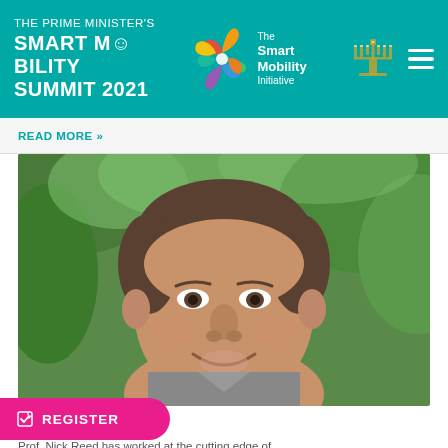THE PRIME MINISTER'S SMART MOBILITY SUMMIT 2021 | The Smart Mobility Initiative
READ MORE »
[Figure (photo): Close-up photo of Prof. Nick Reed, a middle-aged man smiling, with green trees in the background]
Prof. Nick Reed
Prof. Nick Reed has worked at the cutting edge of research for more than fifteen years. From early studies using driving simulators to examine